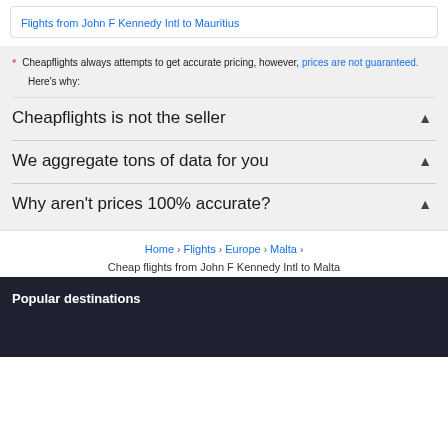Flights from John F Kennedy Intl to Mauritius
* Cheapflights always attempts to get accurate pricing, however, prices are not guaranteed.
Here's why:
Cheapflights is not the seller
We aggregate tons of data for you
Why aren't prices 100% accurate?
Home > Flights > Europe > Malta > Cheap flights from John F Kennedy Intl to Malta
Popular destinations